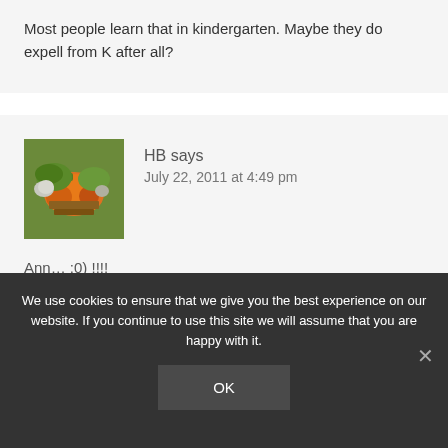Most people learn that in kindergarten. Maybe they do expell from K after all?
HB says
July 22, 2011 at 4:49 pm
[Figure (photo): Avatar image showing autumn/fall themed still life with pumpkins and flowers]
Ann… :0) !!!!
We use cookies to ensure that we give you the best experience on our website. If you continue to use this site we will assume that you are happy with it.